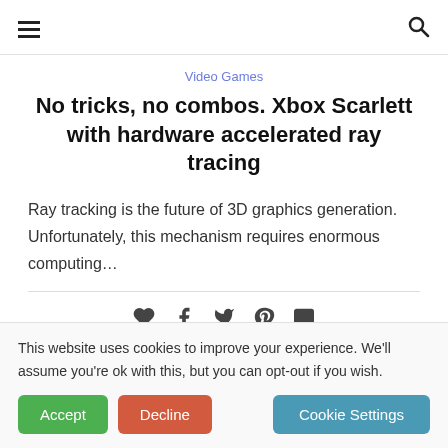☰ [hamburger menu] [search icon]
Video Games
No tricks, no combos. Xbox Scarlett with hardware accelerated ray tracing
Ray tracking is the future of 3D graphics generation. Unfortunately, this mechanism requires enormous computing…
[share icons: heart, facebook, twitter, pinterest, email]
This website uses cookies to improve your experience. We'll assume you're ok with this, but you can opt-out if you wish.
Accept  Decline  Cookie Settings